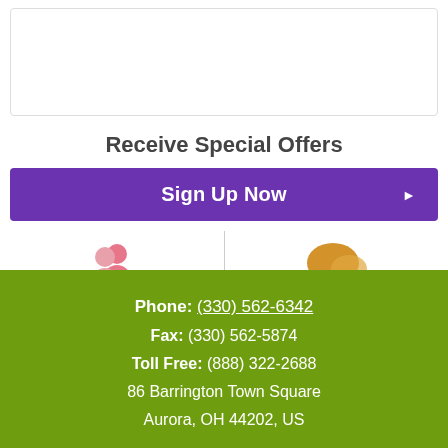Receive Special Offers
Sign Up Now ▶
[Figure (illustration): About Us icon - pink silhouette of two people]
About Us
[Figure (illustration): Contact Us icon - orange speech bubble]
Contact Us
Phone: (330) 562-6342
Fax: (330) 562-5874
Toll Free: (888) 322-2688
86 Barrington Town Square
Aurora, OH 44202, US